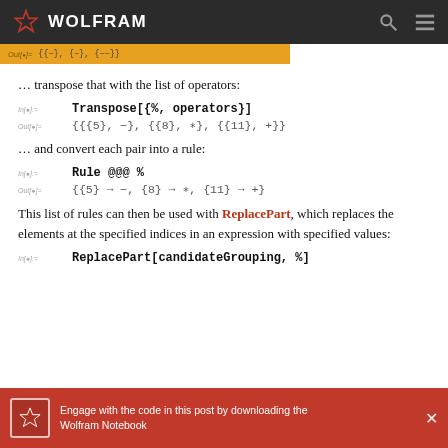WOLFRAM
{{−}, {−}, {−−}}
… transpose that with the list of operators:
In[•]:= Transpose[{%, operators}]
Out[•]= {{{5}, −}, {{8}, ∗}, {{11}, +}}
… and convert each pair into a rule:
In[•]:= Rule @@@ %
Out[•]= {{5} → −, {8} → ∗, {11} → +}
This list of rules can then be used with ReplacePart, which replaces the elements at the specified indices in an expression with specified values:
In[•]:= ReplacePart[candidateGrouping, %]
Engage with the code in this post by downloading the Wolfram Notebook